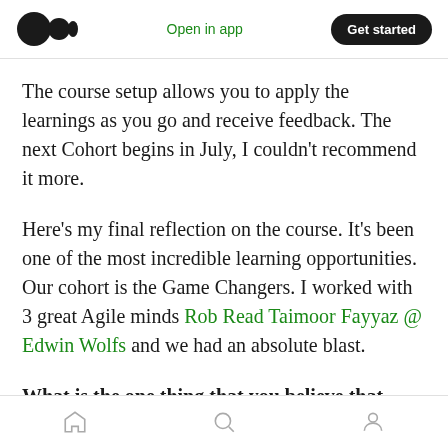Open in app | Get started
The course setup allows you to apply the learnings as you go and receive feedback. The next Cohort begins in July, I couldn't recommend it more.
Here's my final reflection on the course. It's been one of the most incredible learning opportunities. Our cohort is the Game Changers. I worked with 3 great Agile minds Rob Read Taimoor Fayyaz @ Edwin Wolfs and we had an absolute blast.
What is the one thing that you believe that every agile coach should know?
Home | Search | Profile